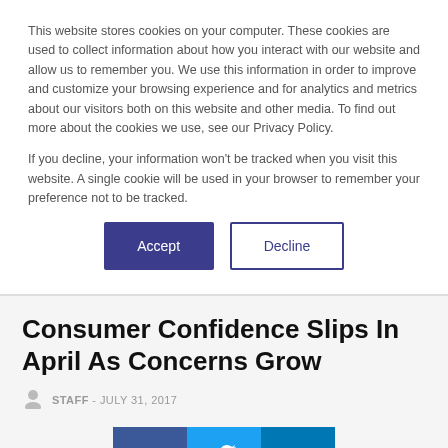This website stores cookies on your computer. These cookies are used to collect information about how you interact with our website and allow us to remember you. We use this information in order to improve and customize your browsing experience and for analytics and metrics about our visitors both on this website and other media. To find out more about the cookies we use, see our Privacy Policy.
If you decline, your information won't be tracked when you visit this website. A single cookie will be used in your browser to remember your preference not to be tracked.
[Figure (other): Two buttons: 'Accept' (dark blue/purple filled) and 'Decline' (outlined with dark blue/purple border)]
Consumer Confidence Slips In April As Concerns Grow
STAFF - JULY 31, 2017
[Figure (other): Social media share buttons: Facebook (blue), Twitter (light blue), LinkedIn (dark blue)]